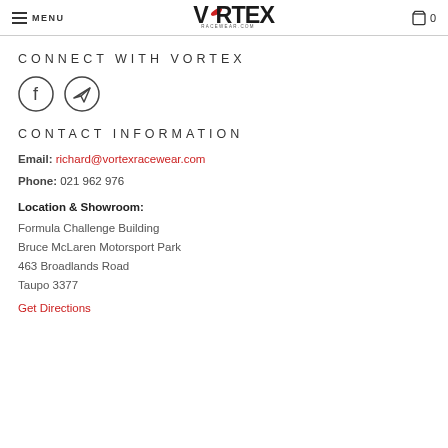MENU  VORTEX RACEWEAR.COM  0
CONNECT WITH VORTEX
[Figure (illustration): Facebook circle icon and paper plane (Telegram/share) circle icon]
CONTACT INFORMATION
Email: richard@vortexracewear.com
Phone: 021 962 976
Location & Showroom:
Formula Challenge Building
Bruce McLaren Motorsport Park
463 Broadlands Road
Taupo 3377
Get Directions